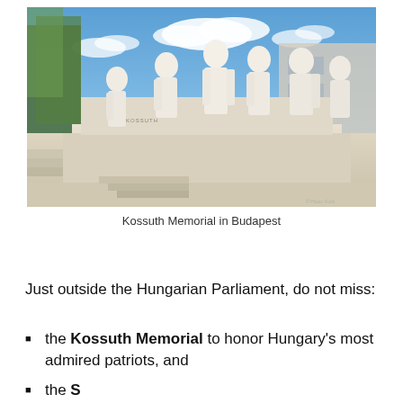[Figure (photo): Outdoor photograph of the Kossuth Memorial in Budapest, showing white marble statues of historical figures arranged on a stepped limestone plinth, with trees and a building visible in the background under a blue sky with clouds.]
Kossuth Memorial in Budapest
Just outside the Hungarian Parliament, do not miss:
the Kossuth Memorial to honor Hungary's most admired patriots, and
the ...